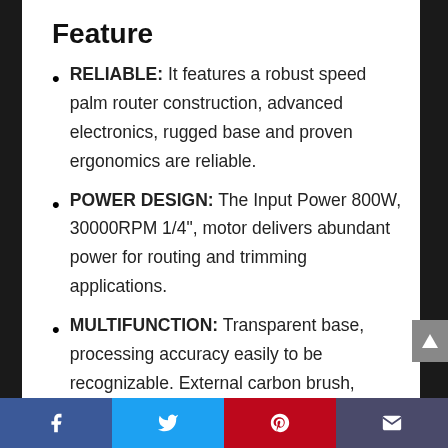Feature
RELIABLE: It features a robust speed palm router construction, advanced electronics, rugged base and proven ergonomics are reliable.
POWER DESIGN: The Input Power 800W, 30000RPM 1/4", motor delivers abundant power for routing and trimming applications.
MULTIFUNCTION: Transparent base, processing accuracy easily to be recognizable. External carbon brush, universal carbon brush easy